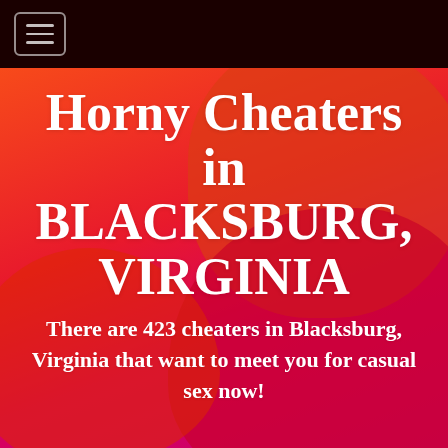Horny Cheaters in BLACKSBURG, VIRGINIA
There are 423 cheaters in Blacksburg, Virginia that want to meet you for casual sex now!